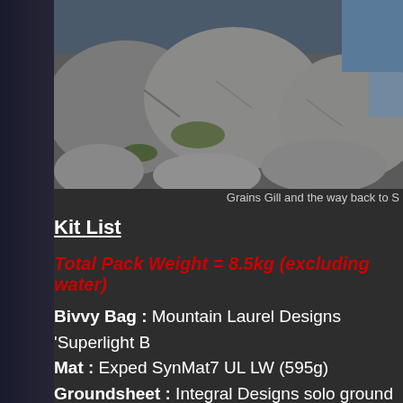[Figure (photo): Photograph of large boulders and rocks at Grains Gill, with mossy stones and water visible]
Grains Gill and the way back to S
Kit List
Total Pack Weight = 8.5kg (excluding water)
Bivvy Bag : Mountain Laurel Designs 'Superlight B
Mat : Exped SynMat7 UL LW (595g)
Groundsheet : Integral Designs solo ground shee
Sleeping Bag : Rab Alpine 400 (970g) and Rab si
Stove : High Gear Blaze titanium stove (48g)  + Pr
Evernew Solo-set (250g)